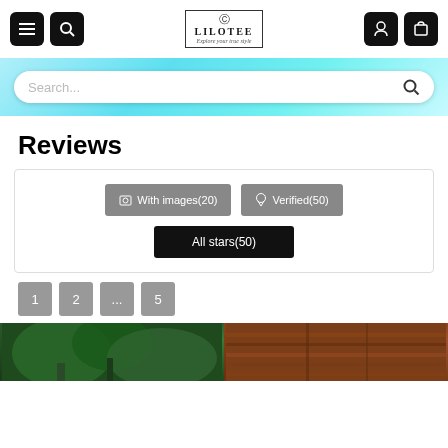LILOTEE - Explore your true style
[Figure (screenshot): Search bar on teal/cyan gradient background banner]
Reviews
[Figure (screenshot): Review filter buttons: With images(20), Verified(50), All stars(50)]
1
2
...
5
[Figure (photo): Two review product photos at bottom: left shows trees/forest, right shows wooden surface]